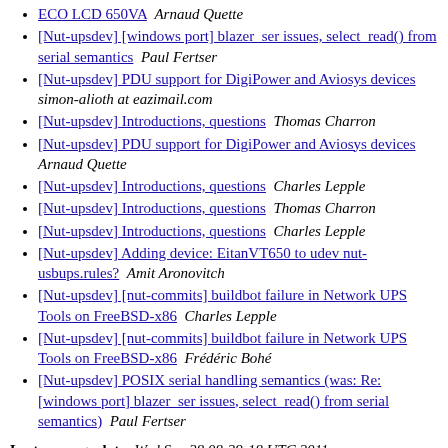ECO LCD 650VA  Arnaud Quette
[Nut-upsdev] [windows port] blazer_ser issues, select_read() from serial semantics  Paul Fertser
[Nut-upsdev] PDU support for DigiPower and Aviosys devices  simon-alioth at eazimail.com
[Nut-upsdev] Introductions, questions  Thomas Charron
[Nut-upsdev] PDU support for DigiPower and Aviosys devices  Arnaud Quette
[Nut-upsdev] Introductions, questions  Charles Lepple
[Nut-upsdev] Introductions, questions  Thomas Charron
[Nut-upsdev] Introductions, questions  Charles Lepple
[Nut-upsdev] Adding device: EitanVT650 to udev nut-usbups.rules?  Amit Aronovitch
[Nut-upsdev] [nut-commits] buildbot failure in Network UPS Tools on FreeBSD-x86  Charles Lepple
[Nut-upsdev] [nut-commits] buildbot failure in Network UPS Tools on FreeBSD-x86  Frédéric Bohé
[Nut-upsdev] POSIX serial handling semantics (was: Re: [windows port] blazer_ser issues, select_read() from serial semantics)  Paul Fertser
Last message date: Wed Sep 28 08:39:18 UTC 2011
Archived on: Wed Sep 28 08:41:01 UTC 2011
Messages sorted by: [ thread ] [ subject ] [ author ]
More info on this list...